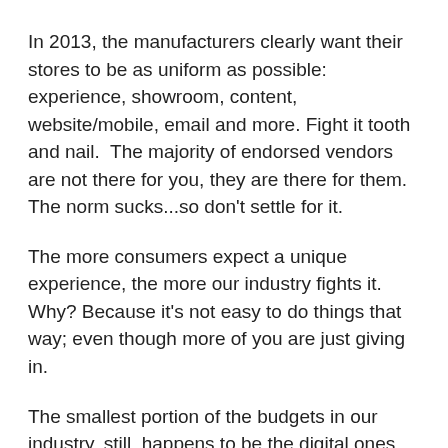In 2013, the manufacturers clearly want their stores to be as uniform as possible: experience, showroom, content, website/mobile, email and more. Fight it tooth and nail.  The majority of endorsed vendors are not there for you, they are there for them.  The norm sucks...so don't settle for it.
The more consumers expect a unique experience, the more our industry fights it. Why? Because it's not easy to do things that way; even though more of you are just giving in.
The smallest portion of the budgets in our industry, still, happens to be the digital ones. This is a top-down